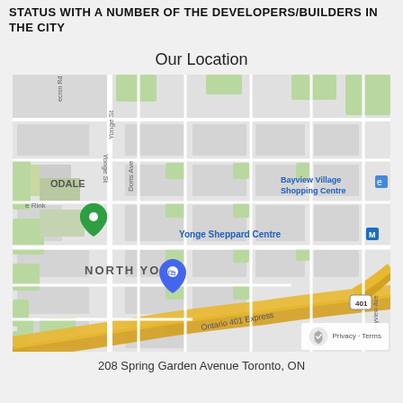STATUS WITH A NUMBER OF THE DEVELOPERS/BUILDERS IN THE CITY
Our Location
[Figure (map): Google Maps showing North York area of Toronto, with Yonge Sheppard Centre, Bayview Village Shopping Centre, Ontario 401 Express, Doris Ave, Yonge St, Bayview Ave visible. A green location pin marks the office location.]
208 Spring Garden Avenue Toronto, ON